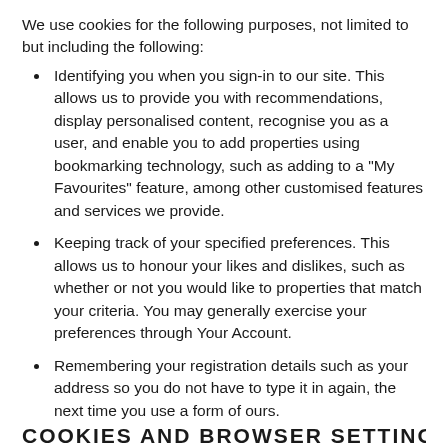We use cookies for the following purposes, not limited to but including the following:
Identifying you when you sign-in to our site. This allows us to provide you with recommendations, display personalised content, recognise you as a user, and enable you to add properties using bookmarking technology, such as adding to a "My Favourites" feature, among other customised features and services we provide.
Keeping track of your specified preferences. This allows us to honour your likes and dislikes, such as whether or not you would like to properties that match your criteria. You may generally exercise your preferences through Your Account.
Remembering your registration details such as your address so you do not have to type it in again, the next time you use a form of ours.
COOKIES AND BROWSER SETTINGS